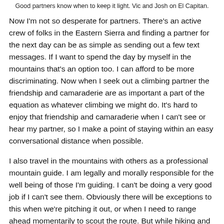Good partners know when to keep it light. Vic and Josh on El Capitan.
Now I'm not so desperate for partners. There's an active crew of folks in the Eastern Sierra and finding a partner for the next day can be as simple as sending out a few text messages. If I want to spend the day by myself in the mountains that's an option too. I can afford to be more discriminating. Now when I seek out a climbing partner the friendship and camaraderie are as important a part of the equation as whatever climbing we might do. It's hard to enjoy that friendship and camaraderie when I can't see or hear my partner, so I make a point of staying within an easy conversational distance when possible.
I also travel in the mountains with others as a professional mountain guide. I am legally and morally responsible for the well being of those I'm guiding. I can't be doing a very good job if I can't see them. Obviously there will be exceptions to this when we're pitching it out, or when I need to range ahead momentarily to scout the route. But while hiking and on approaches and descents I stay near my clients both for practical reasons, like pointing out the best footing through a talus field, and for personal ones. The folks I spend time with